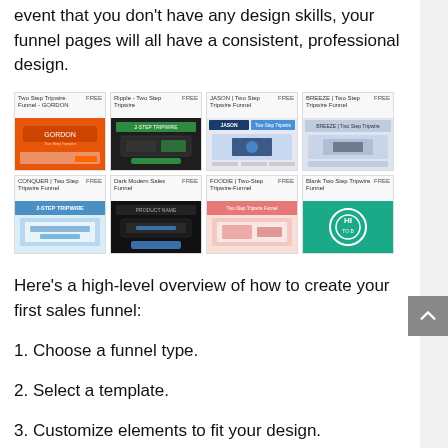event that you don't have any design skills, your funnel pages will all have a consistent, professional design.
[Figure (screenshot): Grid of 8 funnel template thumbnails arranged in 2 rows of 4: Row 1: Two Step Tripwire Funnel - GORDON (FREE), Ripple - Two Step Tripwire (FREE), JASON | Two Step Tripwire Funnel (FREE), BREEZE | Two Step Tripwire Funnel (FREE). Row 2: CONQUER | Two Step Tripwire Funnel (FREE), Dark Modern Sales Funnel (FREE), FOODIE | Two-Step Tripwire-Funnel (FREE), Blank Two Step Tripwire Funnel (FREE).]
Here's a high-level overview of how to create your first sales funnel:
1. Choose a funnel type.
2. Select a template.
3. Customize elements to fit your design.